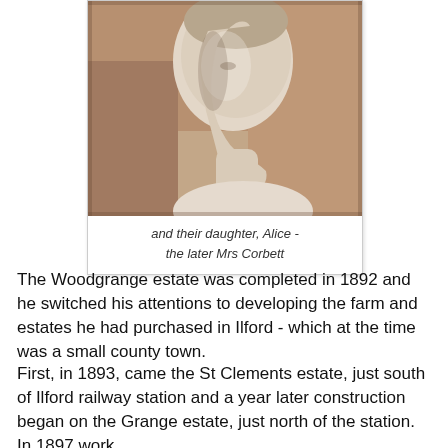[Figure (photo): Black and white sepia photograph of a young woman in profile view, facing left, with bare shoulders, hair pulled back. Historical portrait style.]
and their daughter, Alice - the later Mrs Corbett
The Woodgrange estate was completed in 1892 and he switched his attentions to developing the farm and estates he had purchased in Ilford - which at the time was a small county town.
First, in 1893, came the St Clements estate, just south of Ilford railway station and a year later construction began on the Grange estate, just north of the station. In 1897 work